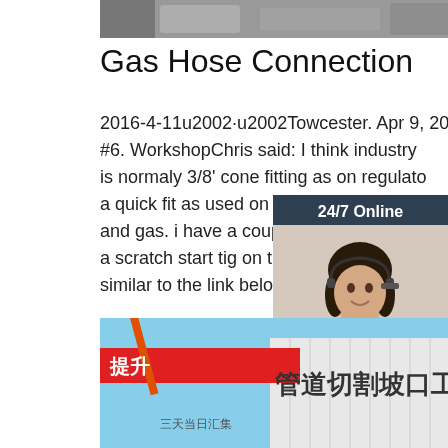[Figure (photo): Top partial photo of industrial equipment, gray tones]
Gas Hose Connection
2016-4-11u2002·u2002Towcester. Apr 9, 2016 #6. WorkshopChris said: I think industry is normaly 3/8' cone fitting as on regulators a quick fit as used on tig torches for cool and gas. i have a couple of long hose for a scratch start tig on the generator with a similar to the link below:-.
[Figure (photo): Chat widget showing woman with headset, 24/7 Online label, Click here for free chat!, and QUOTATION button]
[Figure (photo): Get Price green button]
[Figure (photo): Bottom photo showing Chinese industrial signage with text 提升 and 管道切割坡口工作站]